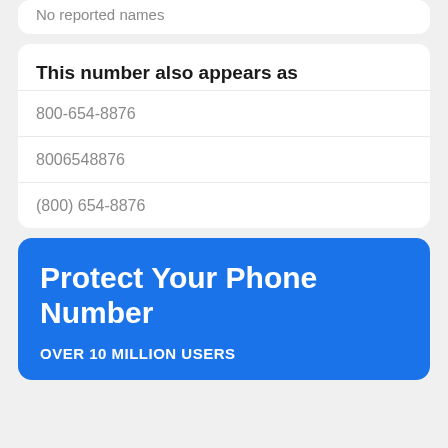No reported names
This number also appears as
800-654-8876
8006548876
(800) 654-8876
Protect Your Phone Number
OVER 10 MILLION USERS